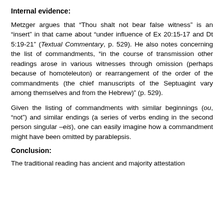Internal evidence:
Metzger argues that “Thou shalt not bear false witness” is an “insert” in that came about “under influence of Ex 20:15-17 and Dt 5:19-21” (Textual Commentary, p. 529). He also notes concerning the list of commandments, “in the course of transmission other readings arose in various witnesses through omission (perhaps because of homoteleuton) or rearrangement of the order of the commandments (the chief manuscripts of the Septuagint vary among themselves and from the Hebrew)” (p. 529).
Given the listing of commandments with similar beginnings (ou, “not”) and similar endings (a series of verbs ending in the second person singular –eis), one can easily imagine how a commandment might have been omitted by parablepsis.
Conclusion:
The traditional reading has ancient and majority attestation